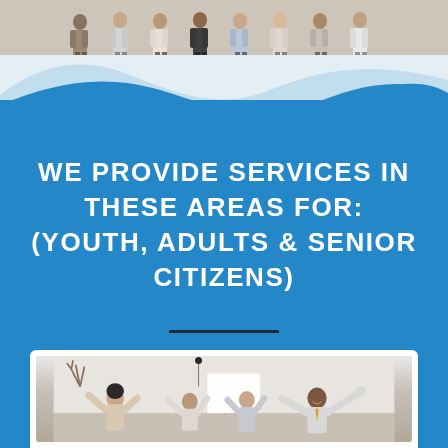[Figure (photo): Group of people standing together in a row, top strip photo]
[Figure (illustration): Wave design in light blue and white transitioning to solid blue background]
WE PROVIDE SERVICES IN THESE AREAS FOR: (YOUTH, ADULTS & SENIOR CITIZENS)
[Figure (photo): Group of diverse people celebrating with arms raised, shown in a white-framed photo at bottom of page]